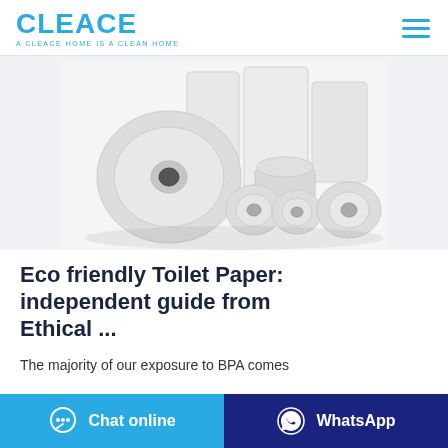CLEACE — A CLEACE HOME IS A CLEAN HOME
[Figure (photo): Multiple toilet paper rolls and tissue paper products arranged together on a white background, including large rolls, small rolls, and a tissue box.]
Eco friendly Toilet Paper: independent guide from Ethical ...
The majority of our exposure to BPA comes
Chat online
WhatsApp